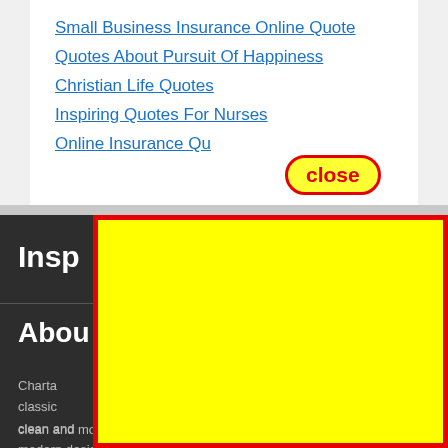Small Business Insurance Online Quote
Quotes About Pursuit Of Happiness
Christian Life Quotes
Inspiring Quotes For Nurses
Online Insurance Qu…
[Figure (other): A yellow highlighted close button with red border and red bold text reading 'close', overlaid on the list items]
Insp
Abou
Charta classic h its clean and modern design the theme is perfectly suited
[Figure (screenshot): Yellow rectangle with red border overlay covering the bottom-right portion of the dark website section]